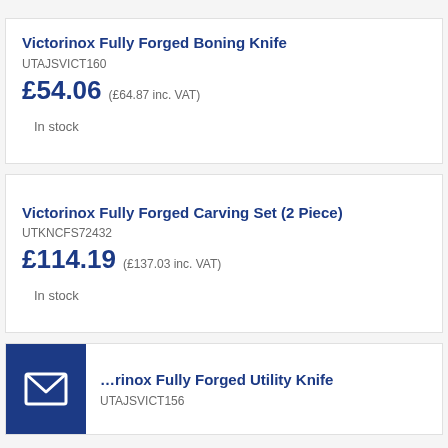Victorinox Fully Forged Boning Knife
UTAJSVICT160
£54.06 (£64.87 inc. VAT)
In stock
Victorinox Fully Forged Carving Set (2 Piece)
UTKNCFS72432
£114.19 (£137.03 inc. VAT)
In stock
[Figure (illustration): Dark blue square icon with white envelope/mail symbol]
Victorinox Fully Forged Utility Knife
UTAJSVICT156